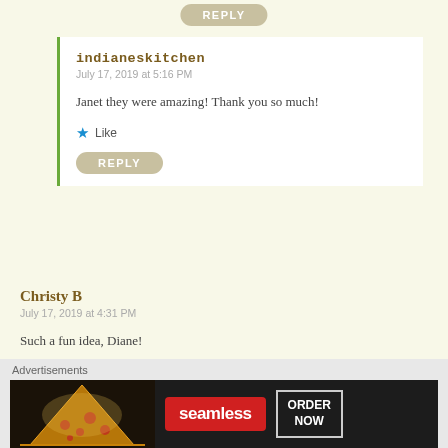REPLY
indianeskitchen
July 17, 2019 at 5:16 PM
Janet they were amazing! Thank you so much!
Like
REPLY
Christy B
July 17, 2019 at 4:31 PM
Such a fun idea, Diane!
Liked by 1 person
REPLY
Advertisements